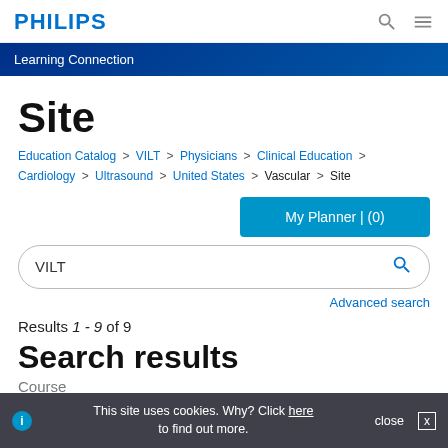PHILIPS
Learning Connection
Site
Education Catalog > VILT > Physicians > Clinical Education > Cardiology > Ultrasound > United States > Vascular > Site
My Planner | (0)
VILT
Advanced search
Results 1 - 9 of 9
Search results
Course
This site uses cookies. Why? Click here to find out more.